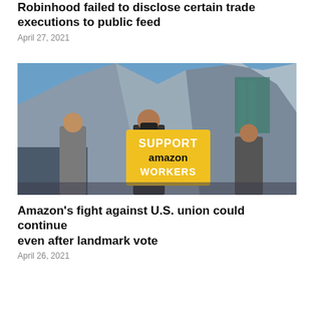Robinhood failed to disclose certain trade executions to public feed
April 27, 2021
[Figure (photo): A protester holding a yellow sign reading 'SUPPORT amazon WORKERS' in front of a modern silver building (Walt Disney Concert Hall). Another person in gray clothing stands nearby.]
Amazon's fight against U.S. union could continue even after landmark vote
April 26, 2021